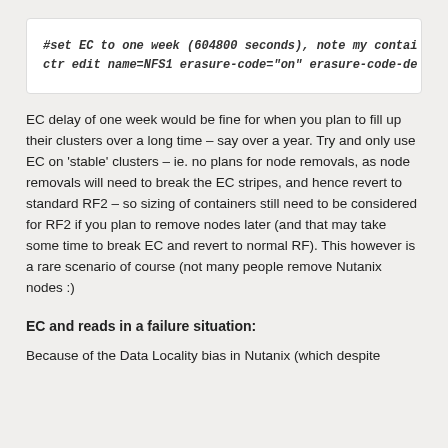#set EC to one week (604800 seconds), note my contai
ctr edit name=NFS1 erasure-code="on" erasure-code-de
EC delay of one week would be fine for when you plan to fill up their clusters over a long time – say over a year. Try and only use EC on 'stable' clusters – ie. no plans for node removals, as node removals will need to break the EC stripes, and hence revert to standard RF2 – so sizing of containers still need to be considered for RF2 if you plan to remove nodes later (and that may take some time to break EC and revert to normal RF). This however is a rare scenario of course (not many people remove Nutanix nodes :)
EC and reads in a failure situation:
Because of the Data Locality bias in Nutanix (which despite